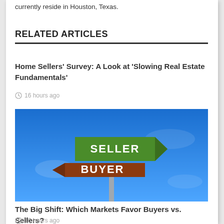currently reside in Houston, Texas.
RELATED ARTICLES
Home Sellers' Survey: A Look at 'Slowing Real Estate Fundamentals'
16 hours ago
[Figure (photo): Street sign post with two arrow signs: green sign pointing right labeled SELLER, and brown/red sign pointing left labeled BUYER, against a blue sky background.]
The Big Shift: Which Markets Favor Buyers vs. Sellers?
16 hours ago